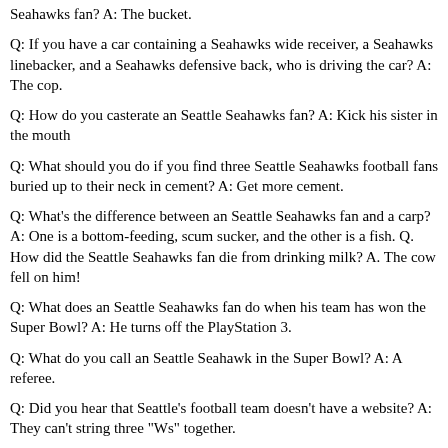Seahawks fan? A: The bucket.
Q: If you have a car containing a Seahawks wide receiver, a Seahawks linebacker, and a Seahawks defensive back, who is driving the car? A: The cop.
Q: How do you casterate an Seattle Seahawks fan? A: Kick his sister in the mouth
Q: What should you do if you find three Seattle Seahawks football fans buried up to their neck in cement? A: Get more cement.
Q: What's the difference between an Seattle Seahawks fan and a carp? A: One is a bottom-feeding, scum sucker, and the other is a fish. Q. How did the Seattle Seahawks fan die from drinking milk? A. The cow fell on him!
Q: What does an Seattle Seahawks fan do when his team has won the Super Bowl? A: He turns off the PlayStation 3.
Q: What do you call an Seattle Seahawk in the Super Bowl? A: A referee.
Q: Did you hear that Seattle's football team doesn't have a website? A: They can't string three "Ws" together.